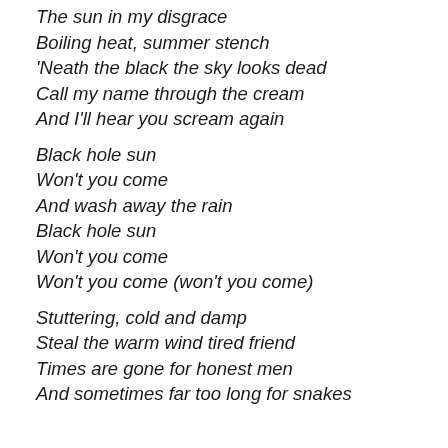The sun in my disgrace
Boiling heat, summer stench
‘Neath the black the sky looks dead
Call my name through the cream
And I’ll hear you scream again
Black hole sun
Won’t you come
And wash away the rain
Black hole sun
Won’t you come
Won’t you come (won’t you come)
Stuttering, cold and damp
Steal the warm wind tired friend
Times are gone for honest men
And sometimes far too long for snakes